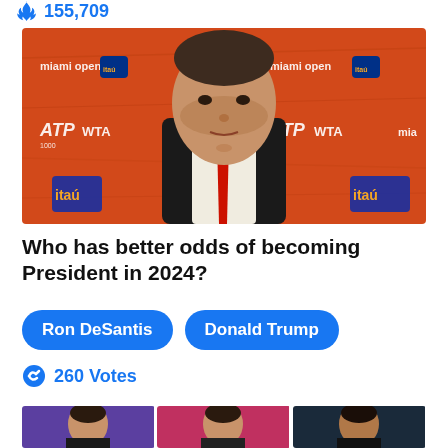155,709
[Figure (photo): Man in dark suit with red tie standing in front of Miami Open ATP WTA sponsor backdrop, orange background with logos]
Who has better odds of becoming President in 2024?
Ron DeSantis   Donald Trump
260 Votes
[Figure (photo): Three people side by side in bottom strip thumbnails]